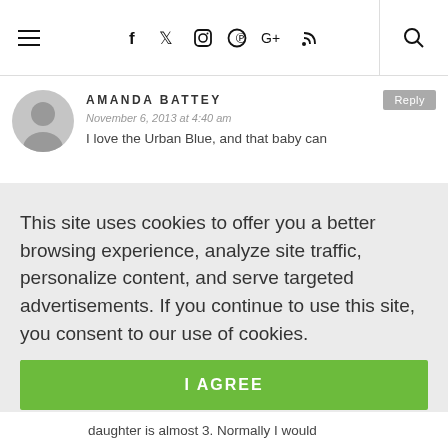≡  f  𝐟  📷  𝗽  G+  )))  🔍
AMANDA BATTEY
November 6, 2013 at 4:40 am
I love the Urban Blue, and that baby can
This site uses cookies to offer you a better browsing experience, analyze site traffic, personalize content, and serve targeted advertisements. If you continue to use this site, you consent to our use of cookies.
Learn more
I AGREE
daughter is almost 3. Normally I would